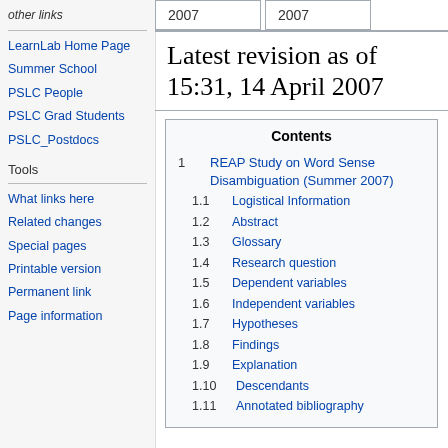other links
LearnLab Home Page
Summer School
PSLC People
PSLC Grad Students
PSLC_Postdocs
Tools
What links here
Related changes
Special pages
Printable version
Permanent link
Page information
| 2007 | 2007 |
| --- | --- |
Latest revision as of 15:31, 14 April 2007
| Contents |
| --- |
| 1  REAP Study on Word Sense Disambiguation (Summer 2007) |
| 1.1  Logistical Information |
| 1.2  Abstract |
| 1.3  Glossary |
| 1.4  Research question |
| 1.5  Dependent variables |
| 1.6  Independent variables |
| 1.7  Hypotheses |
| 1.8  Findings |
| 1.9  Explanation |
| 1.10  Descendants |
| 1.11  Annotated bibliography |